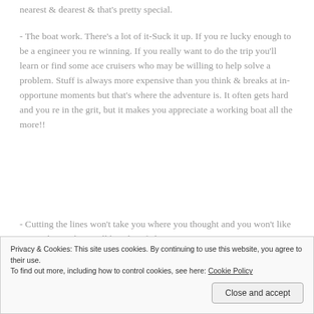nearest & dearest & that's pretty special.
- The boat work. There's a lot of it-Suck it up. If you re lucky enough to be a engineer you re winning. If you really want to do the trip you'll learn or find some ace cruisers who may be willing to help solve a problem. Stuff is always more expensive than you think & breaks at in-opportune moments but that's where the adventure is. It often gets hard and you re in the grit, but it makes you appreciate a working boat all the more!!
- Cutting the lines won't take you where you thought and you won't like everywhere. There will be a lot of change!
Privacy & Cookies: This site uses cookies. By continuing to use this website, you agree to their use.
To find out more, including how to control cookies, see here: Cookie Policy
Close and accept